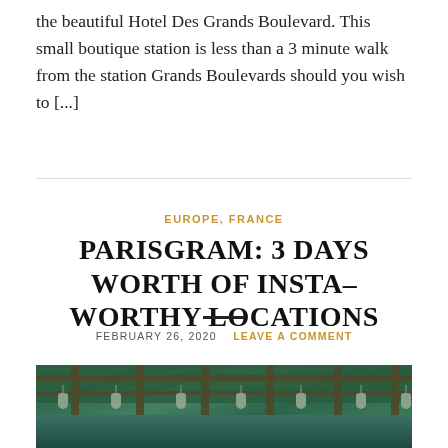the beautiful Hotel Des Grands Boulevard. This small boutique station is less than a 3 minute walk from the station Grands Boulevards should you wish to [...]
EUROPE, FRANCE
PARISGRAM: 3 DAYS WORTH OF INSTA-WORTHY LOCATIONS
FEBRUARY 26, 2020   LEAVE A COMMENT
[Figure (photo): Photo of a covered outdoor terrace or pergola decorated with hanging Edison bulb lights and lush green foliage, with a turquoise/teal background visible through the wooden beams.]